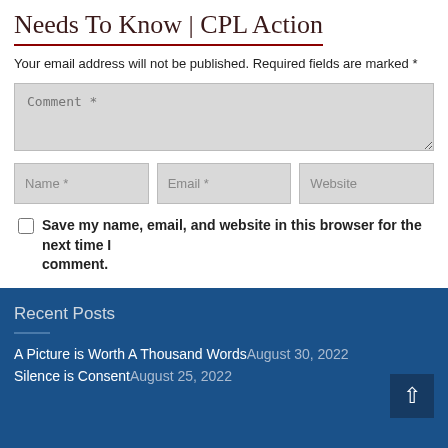Needs To Know | CPL Action
Your email address will not be published. Required fields are marked *
[Figure (screenshot): Comment form with text area labeled 'Comment *', three input fields labeled 'Name *', 'Email *', 'Website', a checkbox with label 'Save my name, email, and website in this browser for the next time I comment.', and a red 'Post Comment' button]
Recent Posts
A Picture is Worth A Thousand Words August 30, 2022
Silence is Consent August 25, 2022